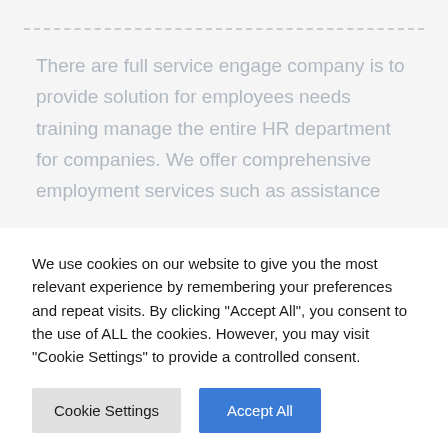There are full service engage company is to provide solution for employees needs training manage the entire HR department for companies. We offer comprehensive employment services such as assistance
READ MORE
We use cookies on our website to give you the most relevant experience by remembering your preferences and repeat visits. By clicking "Accept All", you consent to the use of ALL the cookies. However, you may visit "Cookie Settings" to provide a controlled consent.